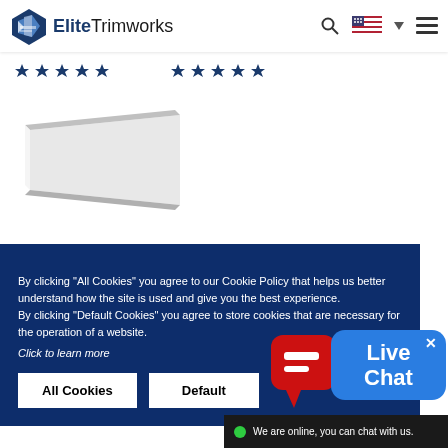[Figure (logo): Elite Trimworks logo with blue diamond/arrow icon and company name]
[Figure (illustration): Two groups of 5 blue star rating icons in a row]
[Figure (photo): White and grey angled trim/molding product piece]
By clicking "All Cookies" you agree to our Cookie Policy that helps us better understand how the site is used and give you the best experience.
By clicking "Default Cookies" you agree to store cookies that are necessary for the operation of a website.
Click to learn more
All Cookies
Default
[Figure (illustration): Live Chat widget with red chat bubble icon and blue bubble showing 'Live Chat' text with X close button]
We are online, you can chat with us.